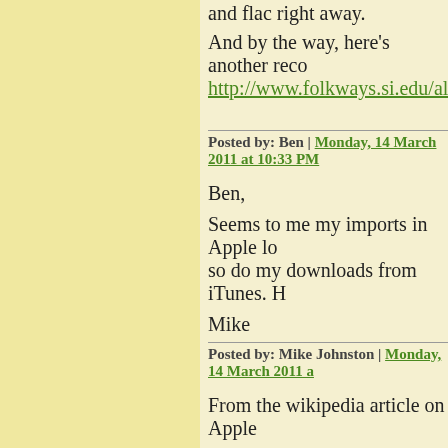and flac right away.
And by the way, here's another reco
http://www.folkways.si.edu/albumde
Posted by: Ben | Monday, 14 March 2011 at 10:33 PM
Ben,
Seems to me my imports in Apple lo so do my downloads from iTunes. H
Mike
Posted by: Mike Johnston | Monday, 14 March 2011 a
From the wikipedia article on Apple
"Apple Lossless data is stored within filename extension .m4a – this exten audio data in an MP4 container (sam